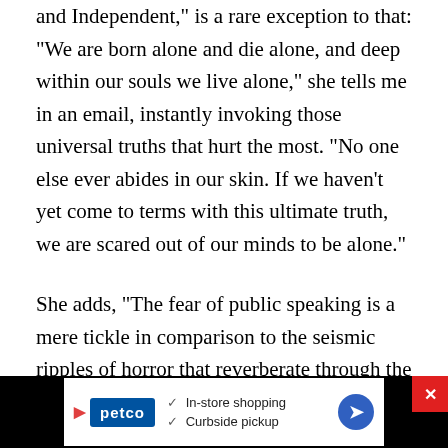and Independent," is a rare exception to that: "We are born alone and die alone, and deep within our souls we live alone," she tells me in an email, instantly invoking those universal truths that hurt the most. "No one else ever abides in our skin. If we haven't yet come to terms with this ultimate truth, we are scared out of our minds to be alone."
She adds, "The fear of public speaking is a mere tickle in comparison to the seismic ripples of horror that reverberate through the heart when faced with spending the weekend alone," says Ford. "People are more courageous about going to the dentist than they
[Figure (other): Advertisement banner for Petco showing in-store shopping and curbside pickup options with a blue direction arrow icon]